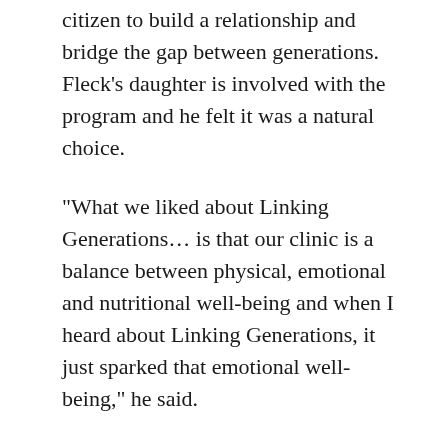citizen to build a relationship and bridge the gap between generations. Fleck's daughter is involved with the program and he felt it was a natural choice.
“What we liked about Linking Generations… is that our clinic is a balance between physical, emotional and nutritional well-being and when I heard about Linking Generations, it just sparked that emotional well-being,” he said.
“This perfectly aligns with that emotional component because too often, especially in our senior years, we live in an environment that can be depressed and they don’t always thrive, and that is why I insisted,” Fleck said. “My daughter is very busy and I wanted her to be a part of that this year. It will grow herself, as well, as a nurturer and as a person, a communicator, but also with that senior she gets